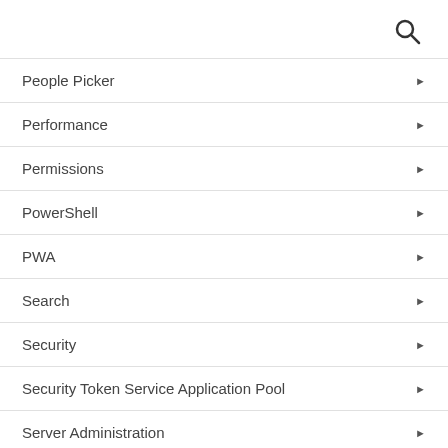[Figure (other): Search magnifying glass icon in top right corner]
People Picker
Performance
Permissions
PowerShell
PWA
Search
Security
Security Token Service Application Pool
Server Administration
SharePoint Administration
SharePoint Development